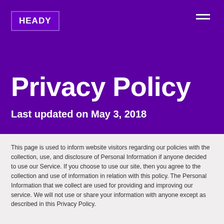HEADY
Privacy Policy
Last updated on May 3, 2018
This page is used to inform website visitors regarding our policies with the collection, use, and disclosure of Personal Information if anyone decided to use our Service. If you choose to use our site, then you agree to the collection and use of information in relation with this policy. The Personal Information that we collect are used for providing and improving our service. We will not use or share your information with anyone except as described in this Privacy Policy.
Information Collection and Use